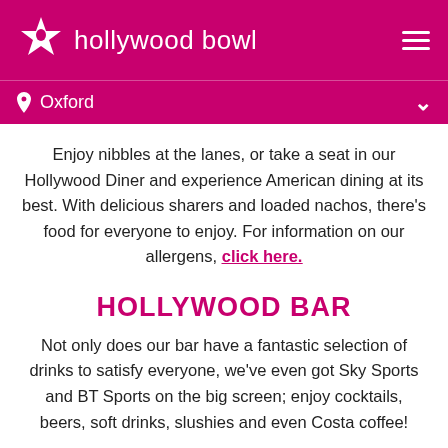hollywood bowl — Oxford
Enjoy nibbles at the lanes, or take a seat in our Hollywood Diner and experience American dining at its best. With delicious sharers and loaded nachos, there's food for everyone to enjoy. For information on our allergens, click here.
HOLLYWOOD BAR
Not only does our bar have a fantastic selection of drinks to satisfy everyone, we've even got Sky Sports and BT Sports on the big screen; enjoy cocktails, beers, soft drinks, slushies and even Costa coffee!